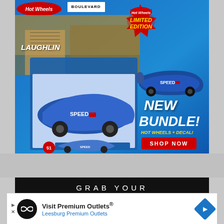[Figure (illustration): Hot Wheels Limited Edition New Bundle advertisement showing toy cars (Speed-branded race cars) with a 'SHOP NOW' button. Blue background with Hot Wheels logo, Laughlin branding, Boulevard sign.]
[Figure (infographic): Black banner ad with text 'GRAB YOUR 20 FREE ENTRIES' in white and yellow-green letters.]
[Figure (illustration): Bottom overlay advertisement: 'Visit Premium Outlets® Leesburg Premium Outlets' with an infinity logo icon and blue navigation arrow.]